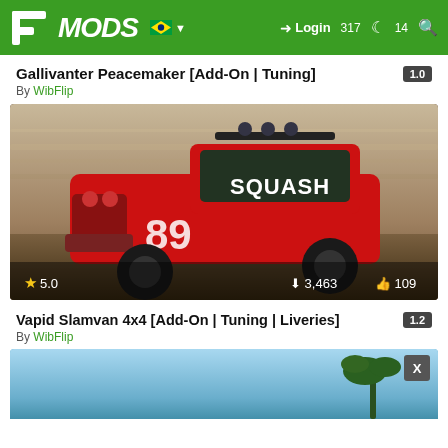5MODS — Login
Gallivanter Peacemaker [Add-On | Tuning] 1.0
By WibFlip
[Figure (screenshot): Red off-road truck labeled SQUASH with number 89, driving at speed with stats: 5.0 rating, 3,463 downloads, 109 likes]
Vapid Slamvan 4x4 [Add-On | Tuning | Liveries] 1.2
By WibFlip
[Figure (screenshot): Partial view of a second mod screenshot showing blue sky and palm tree]